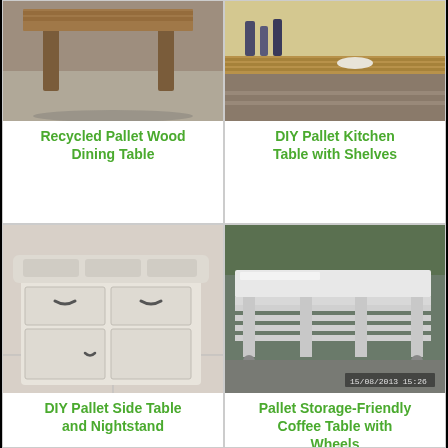[Figure (photo): Photo of a recycled pallet wood dining table from above, on a gray floor]
Recycled Pallet Wood Dining Table
[Figure (photo): Photo of a DIY pallet kitchen table with shelves, items on top, kitchen background]
DIY Pallet Kitchen Table with Shelves
[Figure (photo): Photo of a white distressed DIY pallet side table and nightstand with drawers and cabinet doors]
DIY Pallet Side Table and Nightstand
[Figure (photo): Photo of a white pallet storage-friendly coffee table with wheels, timestamp 15/08/2013 15:26]
Pallet Storage-Friendly Coffee Table with Wheels